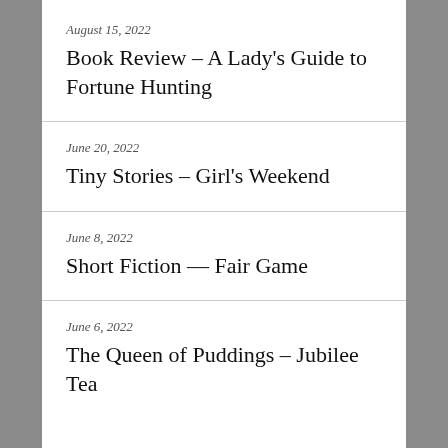August 15, 2022
Book Review – A Lady's Guide to Fortune Hunting
June 20, 2022
Tiny Stories – Girl's Weekend
June 8, 2022
Short Fiction — Fair Game
June 6, 2022
The Queen of Puddings – Jubilee Tea